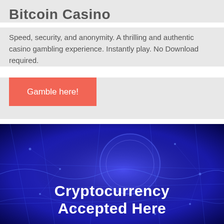Bitcoin Casino
Speed, security, and anonymity. A thrilling and authentic casino gambling experience. Instantly play. No Download required.
Gamble here!
[Figure (illustration): Dark blue digital network background with glowing cryptocurrency coin and circuit patterns, overlaid with bold white text reading 'Cryptocurrency Accepted Here']